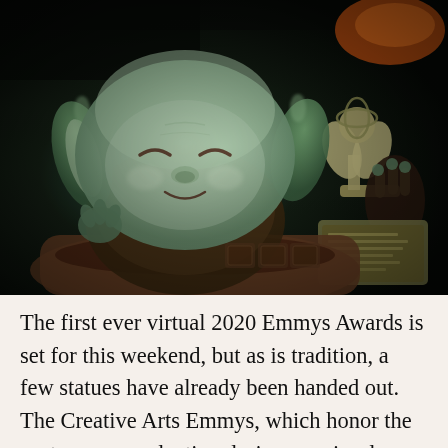[Figure (photo): A photo of Baby Yoda (Grogu) from The Mandalorian with eyes closed, appearing to sleep or smile contentedly, while holding or being near an Emmy Award trophy. The background is dark. An orange/red element is visible in the upper right.]
The first ever virtual 2020 Emmys Awards is set for this weekend, but as is tradition, a few statues have already been handed out. The Creative Arts Emmys, which honor the costumers, production designers, visual effects artists, makeup and hair stylists, and other craftspeople who bring television to life, took